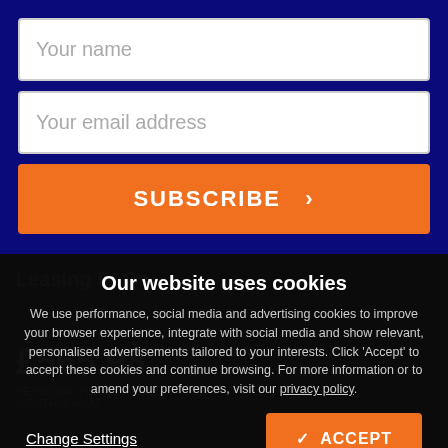Your name
Your email address
SUBSCRIBE >
Our website uses cookies
We use performance, social media and advertising cookies to improve your browser experience, integrate with social media and show relevant, personalised advertisements tailored to your interests. Click 'Accept' to accept these cookies and continue browsing. For more information or to amend your preferences, visit our privacy policy.
Change Settings
✓ ACCEPT